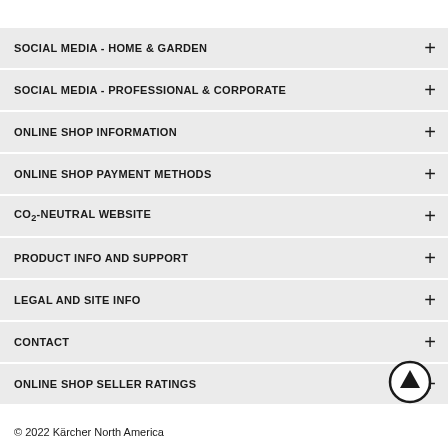SOCIAL MEDIA - HOME & GARDEN
SOCIAL MEDIA - PROFESSIONAL & CORPORATE
ONLINE SHOP INFORMATION
ONLINE SHOP PAYMENT METHODS
CO₂-NEUTRAL WEBSITE
PRODUCT INFO AND SUPPORT
LEGAL AND SITE INFO
CONTACT
ONLINE SHOP SELLER RATINGS
© 2022 Kärcher North America